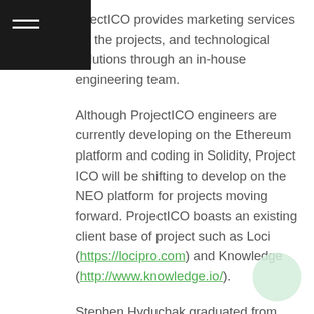rojectICO provides marketing services for the projects, and technological solutions through an in-house engineering team.
Although ProjectICO engineers are currently developing on the Ethereum platform and coding in Solidity, Project ICO will be shifting to develop on the NEO platform for projects moving forward. ProjectICO boasts an existing client base of project such as Loci (https://locipro.com) and Knowledge (http://www.knowledge.io/).
Stephen Hyduchak graduated from Indiana University of Pennsylvania, with a